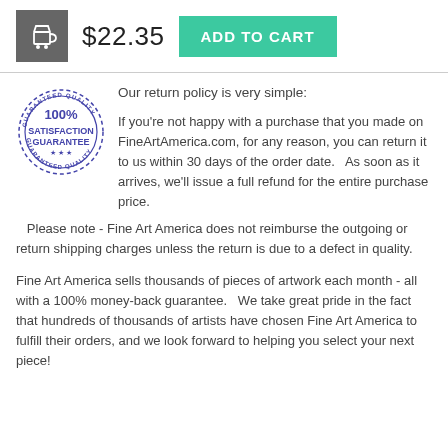[Figure (screenshot): Shopping cart icon in gray box, price $22.35, and teal ADD TO CART button]
[Figure (illustration): 100% Satisfaction Guarantee circular stamp in blue/purple ink]
Our return policy is very simple:
If you're not happy with a purchase that you made on FineArtAmerica.com, for any reason, you can return it to us within 30 days of the order date.   As soon as it arrives, we'll issue a full refund for the entire purchase price.   Please note - Fine Art America does not reimburse the outgoing or return shipping charges unless the return is due to a defect in quality.
Fine Art America sells thousands of pieces of artwork each month - all with a 100% money-back guarantee.   We take great pride in the fact that hundreds of thousands of artists have chosen Fine Art America to fulfill their orders, and we look forward to helping you select your next piece!